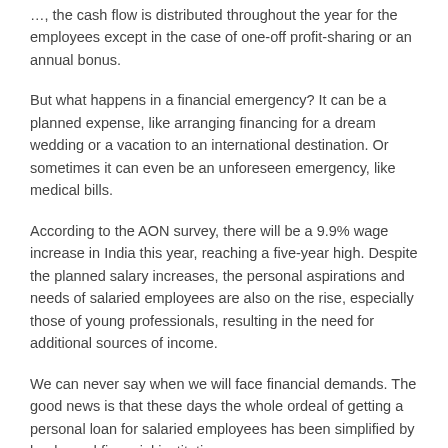…, the cash flow is distributed throughout the year for the employees except in the case of one-off profit-sharing or an annual bonus.
But what happens in a financial emergency? It can be a planned expense, like arranging financing for a dream wedding or a vacation to an international destination. Or sometimes it can even be an unforeseen emergency, like medical bills.
According to the AON survey, there will be a 9.9% wage increase in India this year, reaching a five-year high. Despite the planned salary increases, the personal aspirations and needs of salaried employees are also on the rise, especially those of young professionals, resulting in the need for additional sources of income.
We can never say when we will face financial demands. The good news is that these days the whole ordeal of getting a personal loan for salaried employees has been simplified by banks and financial institutions.
Personal loans for